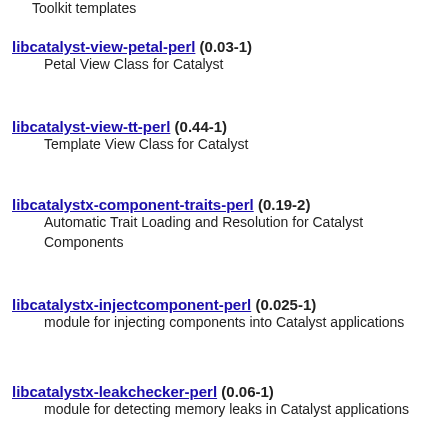Toolkit templates
libcatalyst-view-petal-perl (0.03-1)
  Petal View Class for Catalyst
libcatalyst-view-tt-perl (0.44-1)
  Template View Class for Catalyst
libcatalystx-component-traits-perl (0.19-2)
  Automatic Trait Loading and Resolution for Catalyst Components
libcatalystx-injectcomponent-perl (0.025-1)
  module for injecting components into Catalyst applications
libcatalystx-leakchecker-perl (0.06-1)
  module for detecting memory leaks in Catalyst applications